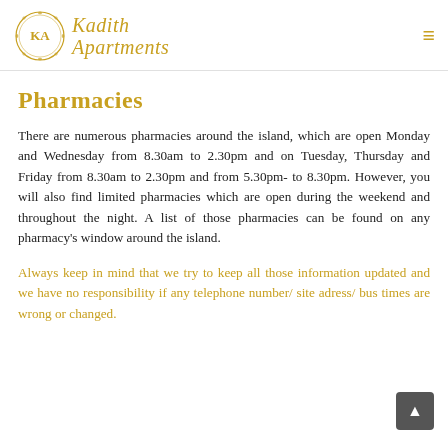[Figure (logo): Kadith Apartments logo with golden ornate circle containing 'KA' initials and script text 'Kadith Apartments' to the right]
Pharmacies
There are numerous pharmacies around the island, which are open Monday and Wednesday from 8.30am to 2.30pm and on Tuesday, Thursday and Friday from 8.30am to 2.30pm and from 5.30pm- to 8.30pm. However, you will also find limited pharmacies which are open during the weekend and throughout the night. A list of those pharmacies can be found on any pharmacy's window around the island.
Always keep in mind that we try to keep all those information updated and we have no responsibility if any telephone number/ site adress/ bus times are wrong or changed.